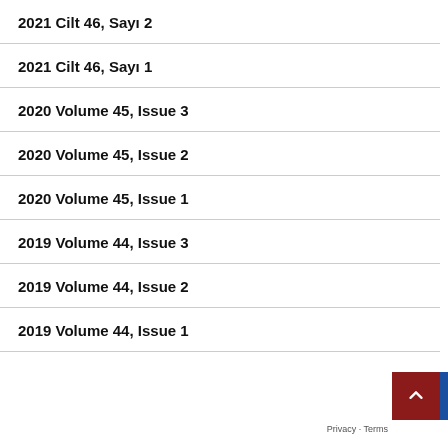2021 Cilt 46, Sayı 2
2021 Cilt 46, Sayı 1
2020 Volume 45, Issue 3
2020 Volume 45, Issue 2
2020 Volume 45, Issue 1
2019 Volume 44, Issue 3
2019 Volume 44, Issue 2
2019 Volume 44, Issue 1